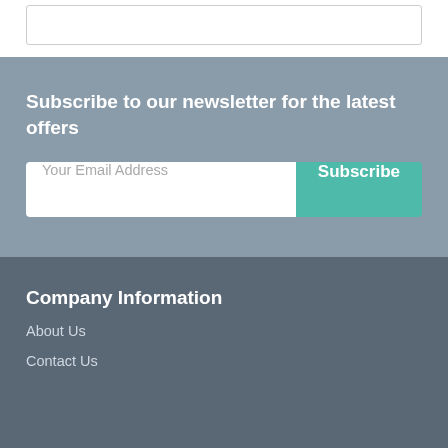[Figure (screenshot): White section at top with a bordered input field outline visible at the top edge]
Subscribe to our newsletter for the latest offers
Your Email Address
Subscribe
Company Information
About Us
Contact Us